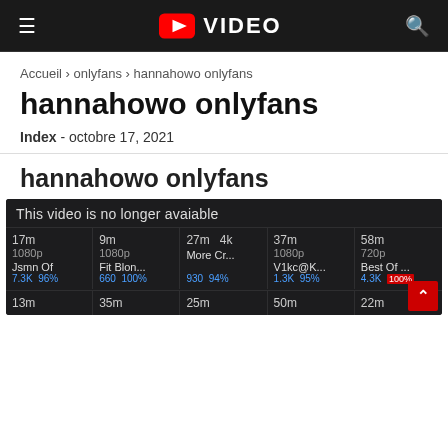☰  ▶ VIDEO  🔍
Accueil › onlyfans › hannahowo onlyfans
hannahowo onlyfans
Index - octobre 17, 2021
hannahowo onlyfans
[Figure (screenshot): Video grid panel with dark background showing 'This video is no longer avaiable' message and video thumbnails with durations, resolutions, titles and stats: 17m 1080p Jsmn Of 7.3K 96%; 9m 1080p Fit Blon... 660 100%; 27m 4k More Cr... 930 94%; 37m 1080p V1kc@K... 1.3K 95%; 58m 720p Best Of... 4.3K 100%. Bottom row partial: 13m, 35m, 25m, 50m, 22m]